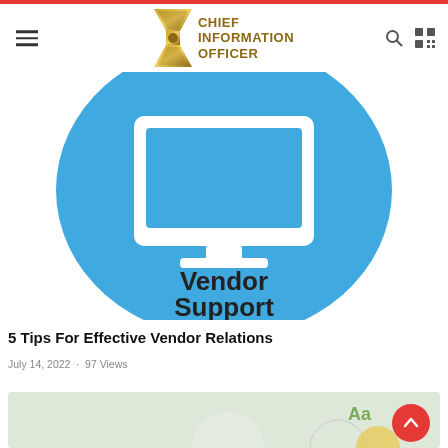Chief Information Officer
[Figure (illustration): Blue circle with white monitor/computer screen icon and text 'Vendor Support' on white background]
5 Tips For Effective Vendor Relations
July 14, 2022 · 97 Views
[Figure (illustration): Partially visible second article image with light green/gray background and decorative elements]